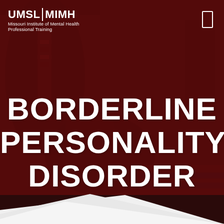[Figure (photo): Dark red-tinted background photo showing a therapy or counseling scene with a suited person and a seated patient, overlaid with a dark crimson color wash. Lower portion has a white diagonal wedge.]
UMSL | MIMH Missouri Institute of Mental Health Professional Training
BORDERLINE PERSONALITY DISORDER